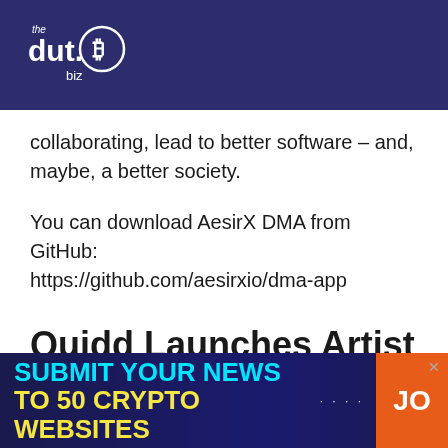[Figure (logo): thedut.B biz logo — white text with Bitcoin B symbol in circle, on dark navy background]
collaborating, lead to better software – and, maybe, a better society.
You can download AesirX DMA from GitHub: https://github.com/aesirxio/dma-app
Quidd Launches Artist
[Figure (infographic): Advertisement banner: SUBMIT YOUR NEWS TO 50 CRYPTO WEBSITES with orange JO button]